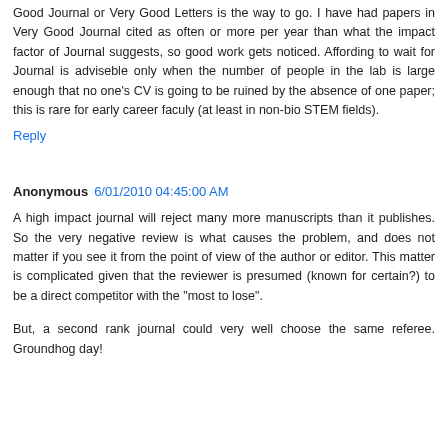Good Journal or Very Good Letters is the way to go. I have had papers in Very Good Journal cited as often or more per year than what the impact factor of Journal suggests, so good work gets noticed. Affording to wait for Journal is adviseble only when the number of people in the lab is large enough that no one's CV is going to be ruined by the absence of one paper; this is rare for early career faculy (at least in non-bio STEM fields).
Reply
Anonymous 6/01/2010 04:45:00 AM
A high impact journal will reject many more manuscripts than it publishes. So the very negative review is what causes the problem, and does not matter if you see it from the point of view of the author or editor. This matter is complicated given that the reviewer is presumed (known for certain?) to be a direct competitor with the "most to lose".
But, a second rank journal could very well choose the same referee. Groundhog day!